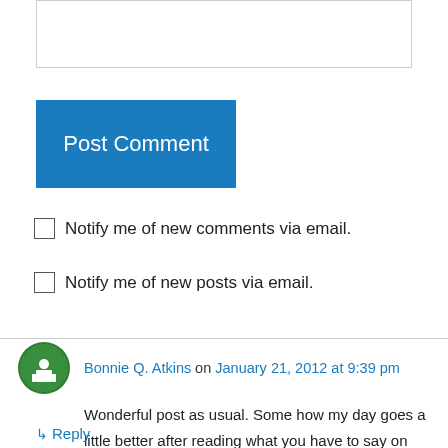[Figure (other): Empty textarea input box for comment entry]
Post Comment
Notify me of new comments via email.
Notify me of new posts via email.
Bonnie Q. Atkins on January 21, 2012 at 9:39 pm
Wonderful post as usual. Some how my day goes a little better after reading what you have to say on the state of the world and your inner world. Keep on posting, we all love you.
↳ Reply